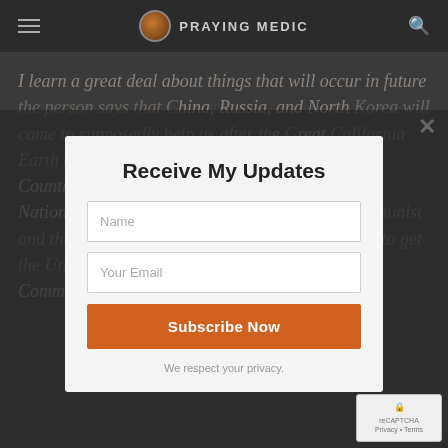PRAYING MEDIC
I learn a great deal about things that will occur in future. The person says that China, Russia, and North Korea will come to supposedly help us after the Great California Earth Quake which has not happened. These three Countries will come as Emissaries or delegates of Nations. The United Nations was created by Communist and their agenda is Communistic. Trump is trying to get the United States out of anything Socialistic or Communistic.
Receive My Updates
Name
Your Email
Subscribe Now
We respect your privacy.